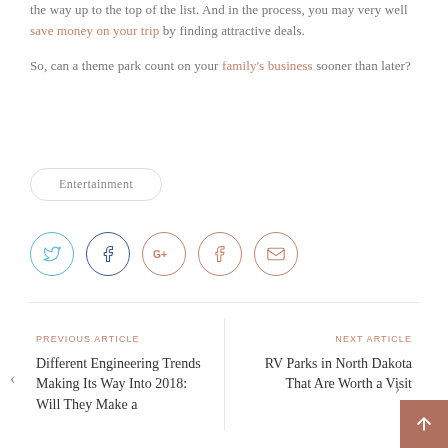the way up to the top of the list. And in the process, you may very well save money on your trip by finding attractive deals.
So, can a theme park count on your family's business sooner than later?
Entertainment
[Figure (infographic): Social sharing icons: Twitter (blue circle), Facebook (dark blue circle), Google+ (salmon circle), Tumblr (salmon circle), Email (salmon circle)]
PREVIOUS ARTICLE
Different Engineering Trends Making Its Way Into 2018: Will They Make a
NEXT ARTICLE
RV Parks in North Dakota That Are Worth a Visit